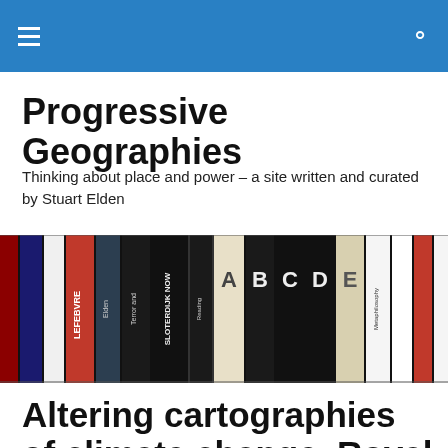Progressive Geographies — site navigation header
Progressive Geographies
Thinking about place and power – a site written and curated by Stuart Elden
[Figure (photo): A shelf of academic books including works by Lefebvre, Elden, Sloterdijk and others, arranged side by side showing their spines.]
Altering cartographies of climate change, Royal Academy, London, 15 April 2019